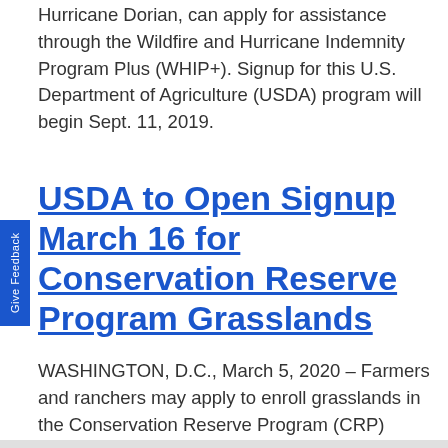Hurricane Dorian, can apply for assistance through the Wildfire and Hurricane Indemnity Program Plus (WHIP+). Signup for this U.S. Department of Agriculture (USDA) program will begin Sept. 11, 2019.
USDA to Open Signup March 16 for Conservation Reserve Program Grasslands
WASHINGTON, D.C., March 5, 2020 – Farmers and ranchers may apply to enroll grasslands in the Conservation Reserve Program (CRP) Grasslands signup beginning March 16. The signup runs through May 15.